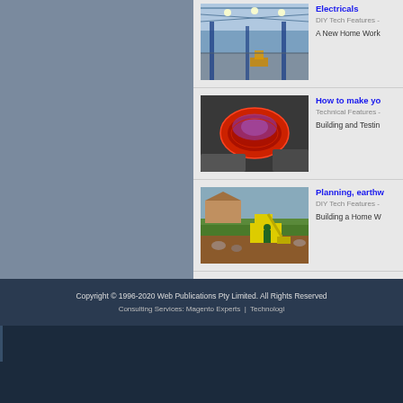[Figure (photo): Interior of a large industrial warehouse with overhead lighting, blue steel structure, high ceiling]
Electricals
DIY Tech Features -
A New Home Work
[Figure (photo): Close-up of a red air intake filter / performance air filter on a car engine, purple lighting]
How to make yo
Technical Features -
Building and Testin
[Figure (photo): Excavator / digger doing earthworks in a garden or construction site, yellow machine, soil and greenery]
Planning, earthw
DIY Tech Features -
Building a Home W
Copyright © 1996-2020 Web Publications Pty Limited. All Rights Reserved   Consulting Services: Magento Experts  |  Technologi